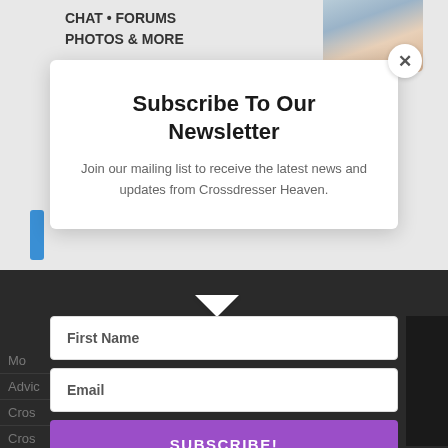[Figure (screenshot): Background website with chat/forums banner and partial person photo in top right]
Subscribe To Our Newsletter
Join our mailing list to receive the latest news and updates from Crossdresser Heaven.
First Name
Email
SUBSCRIBE!
We hate spam too, unsubscribe at any time.